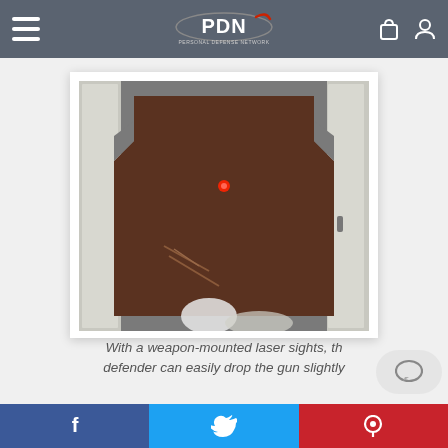[Figure (screenshot): PDN (Personal Defense Network) website header navigation bar with hamburger menu icon on left, PDN logo in center, shopping bag and user account icons on right, on a dark gray background.]
[Figure (photo): A person aiming a handgun at a cardboard IDPA/silhouette shooting target. A red laser dot is visible on the center of the target. The photo is taken indoors in a room with white walls and a door. The bottom of the photo shows a blurred image of the gun and shooter's hands.]
With a weapon-mounted laser sights, the defender can easily drop the gun slightly
[Figure (other): Social sharing buttons: Facebook (blue), Twitter (light blue), Pinterest (red)]